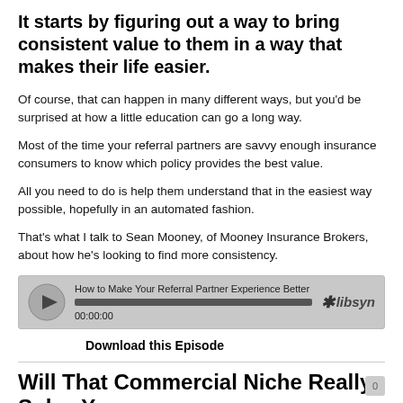It starts by figuring out a way to bring consistent value to them in a way that makes their life easier.
Of course, that can happen in many different ways, but you'd be surprised at how a little education can go a long way.
Most of the time your referral partners are savvy enough insurance consumers to know which policy provides the best value.
All you need to do is help them understand that in the easiest way possible, hopefully in an automated fashion.
That's what I talk to Sean Mooney, of Mooney Insurance Brokers, about how he's looking to find more consistency.
[Figure (other): Embedded podcast audio player widget from libsyn showing title 'How to Make Your Referral Partner Experience Better', progress bar at 00:00:00, and libsyn logo.]
Download this Episode
Will That Commercial Niche Really Solve Y...
Jun 25, 2019